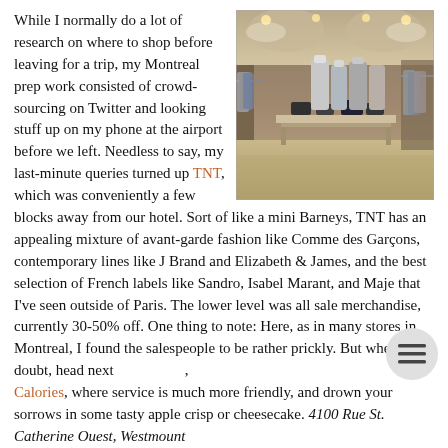[Figure (photo): Interior of a clothing boutique with racks of clothes on display, lit by overhead lights, showing a well-organized retail space]
While I normally do a lot of research on where to shop before leaving for a trip, my Montreal prep work consisted of crowd-sourcing on Twitter and looking stuff up on my phone at the airport before we left. Needless to say, my last-minute queries turned up TNT, which was conveniently a few blocks away from our hotel. Sort of like a mini Barneys, TNT has an appealing mixture of avant-garde fashion like Comme des Garçons, contemporary lines like J Brand and Elizabeth & James, and the best selection of French labels like Sandro, Isabel Marant, and Maje that I've seen outside of Paris. The lower level was all sale merchandise, currently 30-50% off. One thing to note: Here, as in many stores in Montreal, I found the salespeople to be rather prickly. But when in doubt, head next to Calories, where service is much more friendly, and drown your sorrows in some tasty apple crisp or cheesecake. 4100 Rue St. Catherine Ouest, Westmount